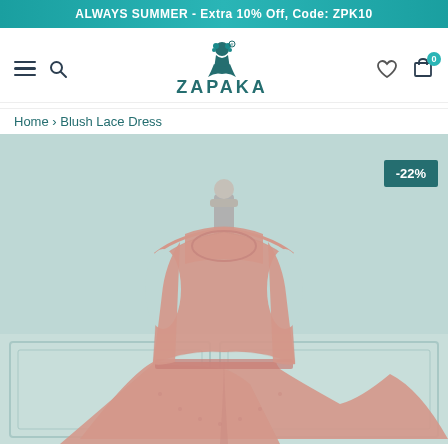ALWAYS SUMMER - Extra 10% Off, Code: ZPK10
[Figure (logo): ZAPAKA brand logo with silhouette of woman with floral elements]
Home › Blush Lace Dress
[Figure (photo): Blush pink lace sleeveless A-line dress on a mannequin against a mint/teal background with white wainscoting. Dress has halter neckline and flared skirt. Badge shows -22% discount.]